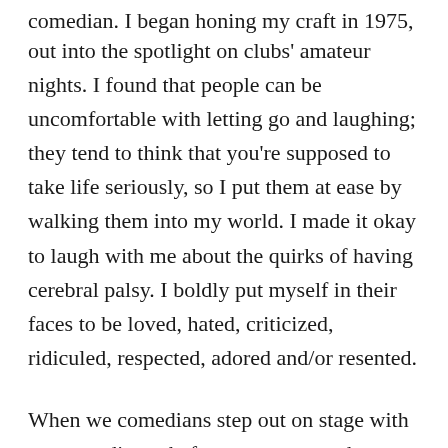out into the spotlight on clubs' amateur nights. I found that people can be uncomfortable with letting go and laughing; they tend to think that you're supposed to take life seriously, so I put them at ease by walking them into my world. I made it okay to laugh with me about the quirks of having cerebral palsy. I boldly put myself in their faces to be loved, hated, criticized, ridiculed, respected, adored and/or resented.
When we comedians step out on stage with a new audience before us, we never know how we'll be received. And yet it's just like exercising any other muscle; it becomes stronger the more you work it.